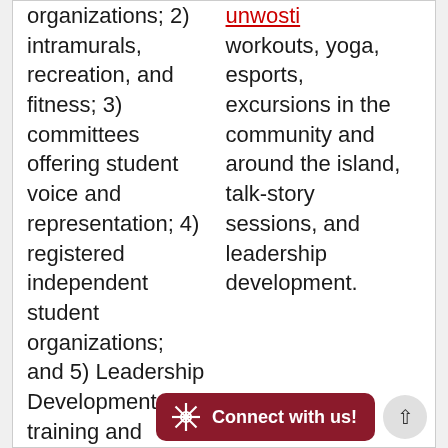organizations; 2) intramurals, recreation, and fitness; 3) committees offering student voice and representation; 4) registered independent student organizations; and 5) Leadership Development training and conferences.
workouts, yoga, esports, excursions in the community and around the island, talk-story sessions, and leadership development.
unwosti [link, partial visible]
Connect with us!